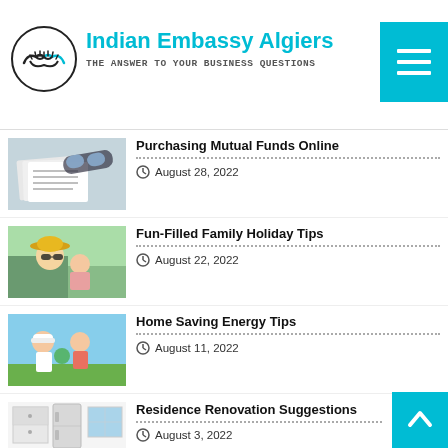Indian Embassy Algiers — THE ANSWER TO YOUR BUSINESS QUESTIONS
Purchasing Mutual Funds Online — August 28, 2022
Fun-Filled Family Holiday Tips — August 22, 2022
Home Saving Energy Tips — August 11, 2022
Residence Renovation Suggestions — August 3, 2022